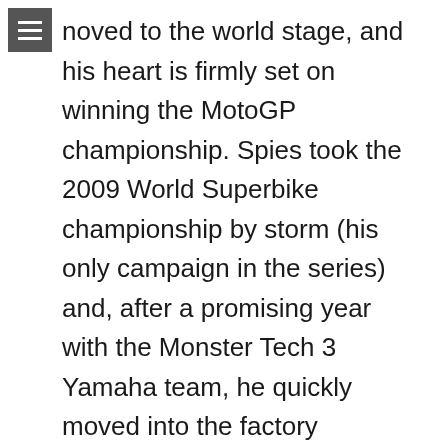noved to the world stage, and his heart is firmly set on winning the MotoGP championship. Spies took the 2009 World Superbike championship by storm (his only campaign in the series) and, after a promising year with the Monster Tech 3 Yamaha team, he quickly moved into the factory Yamaha. Both Lorenzo and Spies had flashes of brilliance and took vital wins away from the Repsol Honda team, but ultimately the bike just couldn't match the speed of the Honda. The new engine rules should level out the competition at the front of the field, which will definitely promise more exciting